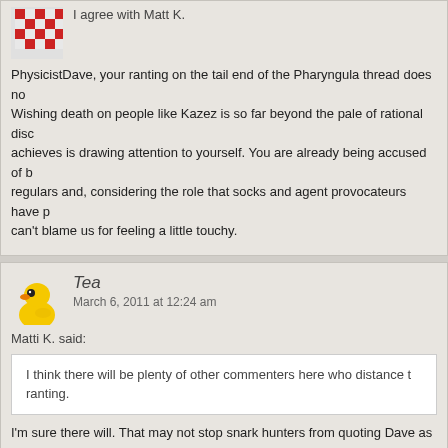I agree with Matt K.
PhysicistDave, your ranting on the tail end of the Pharyngula thread does no Wishing death on people like Kazez is so far beyond the pale of rational disc achieves is drawing attention to yourself. You are already being accused of b regulars and, considering the role that socks and agent provocateurs have p can't blame us for feeling a little touchy.
[Figure (photo): Yellow rubber duck avatar for user Tea]
Tea
March 6, 2011 at 12:24 am
Matti K. said:
I think there will be plenty of other commenters here who distance t ranting.
I'm sure there will. That may not stop snark hunters from quoting Dave as a hostility, though.